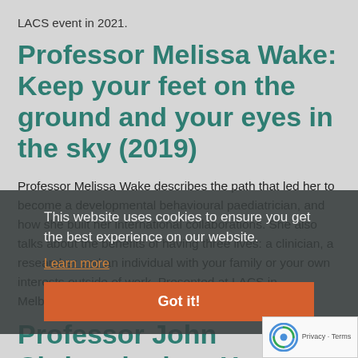LACS event in 2021.
Professor Melissa Wake: Keep your feet on the ground and your eyes in the sky (2019)
Professor Melissa Wake describes the path that led her to become a developmental behavioural paediatrician, and how she built her international collaborations. She also talks about the benefits of having three lives: a clinician, a researcher and an individual with your family or your own interests outside of work.  Presented at LACS in Melbourne, [...]
This website uses cookies to ensure you get the best experience on our website.
Learn more
Got it!
Professor John Christodoulou: How to give a killer talk (2018)